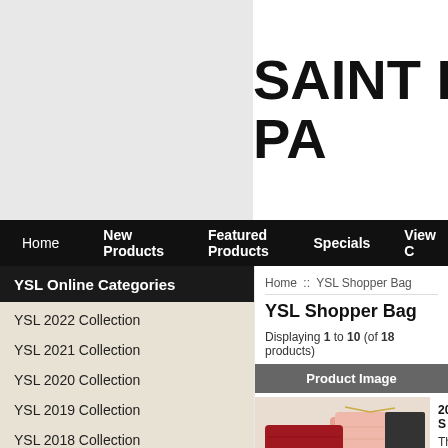Home   Log In
[Figure (screenshot): Saint Laurent Paris brand logo — bold black text 'SAINT L' and 'PA' on white background, partially cropped]
Home   New Products   Featured Products   Specials   View C
YSL Online Categories
YSL 2022 Collection
YSL 2021 Collection
YSL 2020 Collection
YSL 2019 Collection
YSL 2018 Collection
YSL 2017 Collection
YSL 2016 Collection
YSL 2015 Collection
Saint Laurent Clutch
YSL Niki Collection
Saint Laurent Shoes
Home :: YSL Shopper Bag
YSL Shopper Bag
Displaying 1 to 10 (of 18 products)
Product Image
[Figure (photo): Photo of red and pink YSL quilted envelope bags with gold chain straps displayed on a surface]
2014 S
This sp commu with...